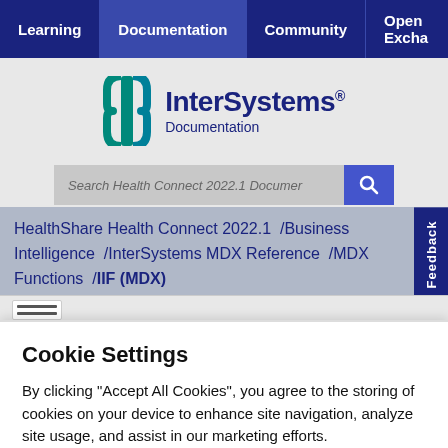Learning  Documentation  Community  Open Excha
[Figure (logo): InterSystems Documentation logo with teal bracket icon]
Search Health Connect 2022.1 Documer
HealthShare Health Connect 2022.1 / Business Intelligence / InterSystems MDX Reference / MDX Functions / IIF (MDX)
Feedback
Cookie Settings
By clicking “Accept All Cookies”, you agree to the storing of cookies on your device to enhance site navigation, analyze site usage, and assist in our marketing efforts.